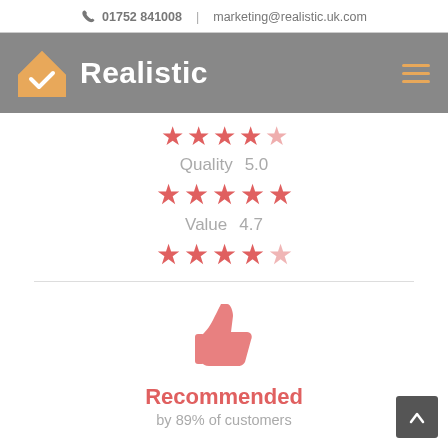01752 841008 | marketing@realistic.uk.com
[Figure (logo): Realistic logo with house/checkmark icon and white text on grey background, with hamburger menu icon]
[Figure (infographic): Star ratings and thumbs up recommendation graphic. Quality 5.0 with 5 red stars, Value 4.7 with 4.5 red stars, thumbs up icon, Recommended by 89% of customers text]